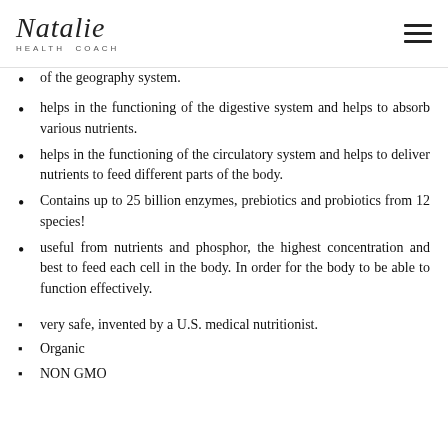Natalie HEALTH COACH
of the geography system.
helps in the functioning of the digestive system and helps to absorb various nutrients.
helps in the functioning of the circulatory system and helps to deliver nutrients to feed different parts of the body.
Contains up to 25 billion enzymes, prebiotics and probiotics from 12 species!
useful from nutrients and phosphor, the highest concentration and best to feed each cell in the body. In order for the body to be able to function effectively.
very safe, invented by a U.S. medical nutritionist.
Organic
NON GMO